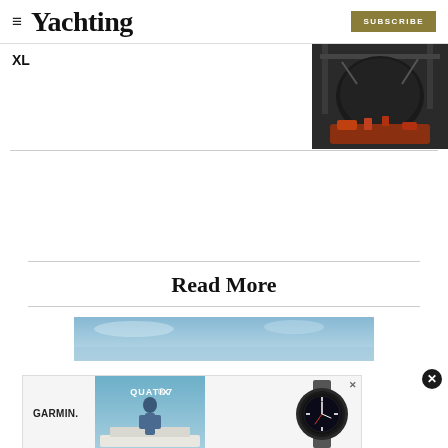≡  Yachting  SUBSCRIBE
XL
[Figure (photo): A dark hull or large boat component being lifted by cranes at a boatyard or dock, photographed at close range showing industrial equipment.]
Read More
[Figure (photo): Partial view of a blue sky/water scene, appears to be a yacht or sailing scene.]
[Figure (photo): Garmin advertisement showing the Garmin Quatix 7 marine smartwatch. Features the Garmin logo, text 'QUATIX 7', a person on a yacht, and the watch face. Has a close X button in the top right corner.]